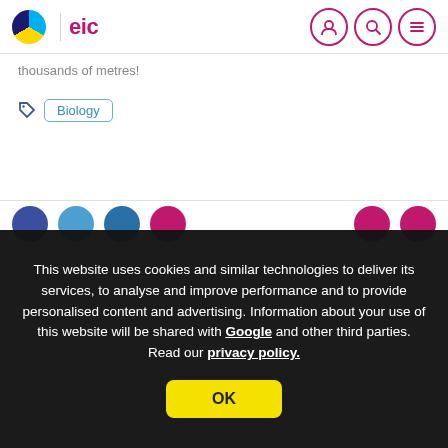C | eic
thousands of metres!
Biology
This website uses cookies and similar technologies to deliver its services, to analyse and improve performance and to provide personalised content and advertising. Information about your use of this website will be shared with Google and other third parties. Read our privacy policy.